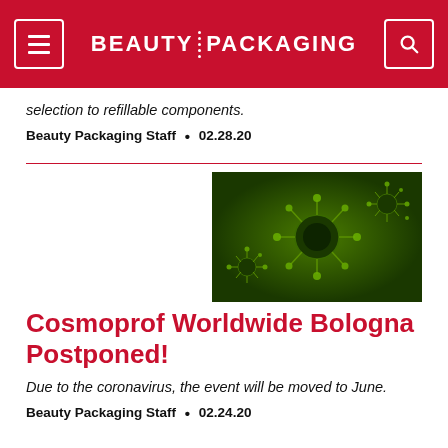BEAUTY PACKAGING
selection to refillable components.
Beauty Packaging Staff  •  02.28.20
[Figure (photo): Microscopic image of coronavirus particles on a green background]
Cosmoprof Worldwide Bologna Postponed!
Due to the coronavirus, the event will be moved to June.
Beauty Packaging Staff  •  02.24.20